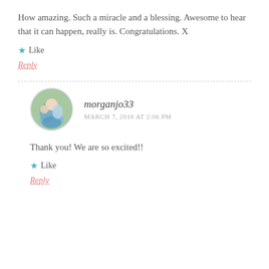How amazing. Such a miracle and a blessing. Awesome to hear that it can happen, really is. Congratulations. X
★ Like
Reply
morganjo33
MARCH 7, 2018 AT 2:06 PM
Thank you! We are so excited!!
★ Like
Reply